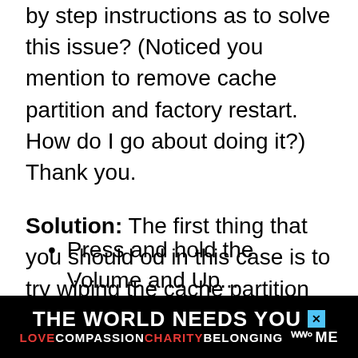by step instructions as to solve this issue? (Noticed you mention to remove cache partition and factory restart. How do I go about doing it?) Thank you.
Solution: The first thing that you should od in this case is to try wiping the cache partition of the phone from the recovery mode.
Turn off the phone
Press and hold the Volume and...
[Figure (screenshot): Black advertisement banner at the bottom reading 'THE WORLD NEEDS YOU' with a close X button, and 'LOVE COMPASSION CHARITY BELONGING me' in colored text below, with a WW logo.]